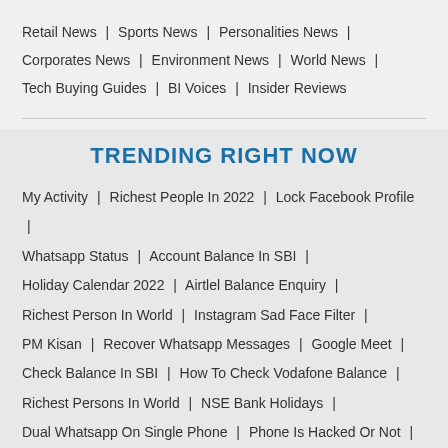Retail News | Sports News | Personalities News | Corporates News | Environment News | World News | Tech Buying Guides | BI Voices | Insider Reviews
TRENDING RIGHT NOW
My Activity | Richest People In 2022 | Lock Facebook Profile | Whatsapp Status | Account Balance In SBI | Holiday Calendar 2022 | Airtlel Balance Enquiry | Richest Person In World | Instagram Sad Face Filter | PM Kisan | Recover Whatsapp Messages | Google Meet | Check Balance In SBI | How To Check Vodafone Balance | Richest Persons In World | NSE Bank Holidays | Dual Whatsapp On Single Phone | Phone Is Hacked Or Not | Vodafone Data Balance | Window 10 Screenshot